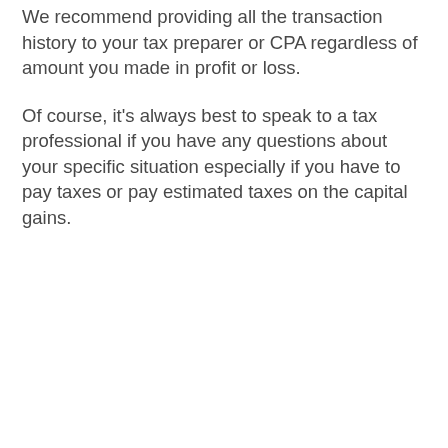We recommend providing all the transaction history to your tax preparer or CPA regardless of amount you made in profit or loss.
Of course, it's always best to speak to a tax professional if you have any questions about your specific situation especially if you have to pay taxes or pay estimated taxes on the capital gains.